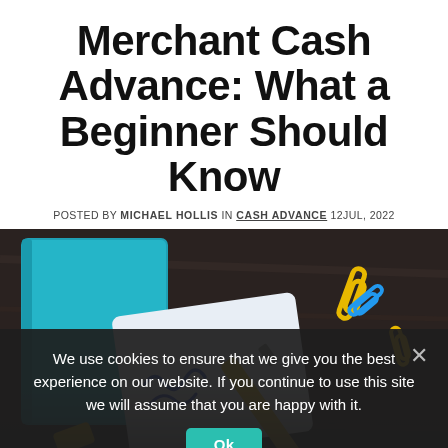Merchant Cash Advance: What a Beginner Should Know
POSTED BY MICHAEL HOLLIS  IN CASH ADVANCE  12JUL, 2022
[Figure (photo): Overhead photo of a dark wooden desk with a teal notebook, a white card with cursive writing, a yellow pen, and yellow and blue paper clips scattered around.]
We use cookies to ensure that we give you the best experience on our website. If you continue to use this site we will assume that you are happy with it.